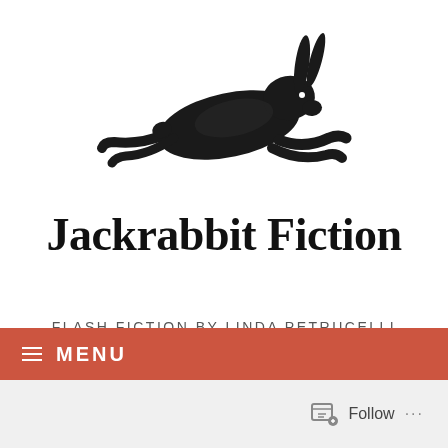[Figure (illustration): A black silhouette illustration of a running/leaping jackrabbit or hare, facing left, in a dynamic motion pose]
Jackrabbit Fiction
FLASH FICTION BY LINDA PETRUCELLI
≡ MENU
Follow ...